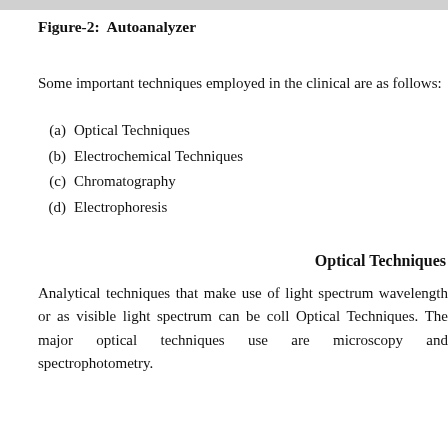Figure-2:  Autoanalyzer
Some important techniques employed in the clinical are as follows:
(a)  Optical Techniques
(b)  Electrochemical Techniques
(c)  Chromatography
(d)  Electrophoresis
Optical Techniques
Analytical techniques that make use of light spectrum wavelength or as visible light spectrum can be collected as Optical Techniques. The major optical techniques used are microscopy and spectrophotometry.